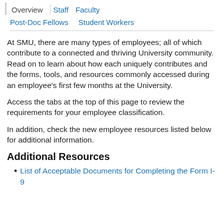Overview | Staff | Faculty | Post-Doc Fellows | Student Workers
At SMU, there are many types of employees; all of which contribute to a connected and thriving University community. Read on to learn about how each uniquely contributes and the forms, tools, and resources commonly accessed during an employee's first few months at the University.
Access the tabs at the top of this page to review the requirements for your employee classification.
In addition, check the new employee resources listed below for additional information.
Additional Resources
List of Acceptable Documents for Completing the Form I-9